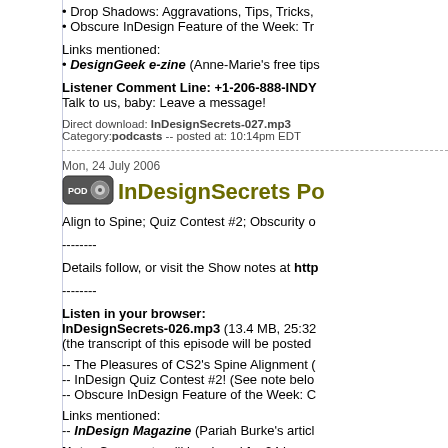• Drop Shadows: Aggravations, Tips, Tricks,
• Obscure InDesign Feature of the Week: Tr
Links mentioned:
• DesignGeek e-zine (Anne-Marie's free tips
Listener Comment Line: +1-206-888-INDY
Talk to us, baby: Leave a message!
Direct download: InDesignSecrets-027.mp3
Category: podcasts -- posted at: 10:14pm EDT
Mon, 24 July 2006
InDesignSecrets Po
Align to Spine; Quiz Contest #2; Obscurity o
--------
Details follow, or visit the Show notes at http
--------
Listen in your browser:
InDesignSecrets-026.mp3 (13.4 MB, 25:32
(the transcript of this episode will be posted
-- The Pleasures of CS2's Spine Alignment (
-- InDesign Quiz Contest #2! (See note belo
-- Obscure InDesign Feature of the Week: C
Links mentioned:
-- InDesign Magazine (Pariah Burke's articl
Note: Comments will be closed for 24 hours.
After 24 hours, the first complete and correc
like last time.